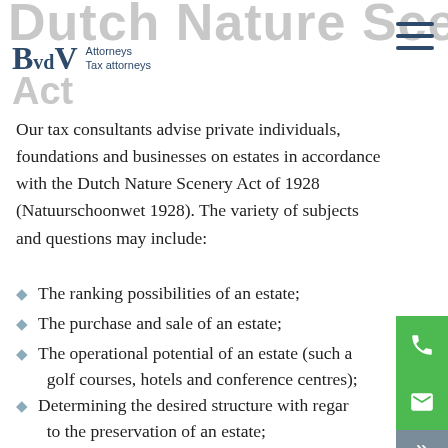Dutch Nature Scenery Act
Our tax consultants advise private individuals, foundations and businesses on estates in accordance with the Dutch Nature Scenery Act of 1928 (Natuurschoonwet 1928). The variety of subjects and questions may include:
The ranking possibilities of an estate;
The purchase and sale of an estate;
The operational potential of an estate (such as golf courses, hotels and conference centres);
Determining the desired structure with regard to the preservation of an estate;
Disputes with the Tax and Customs